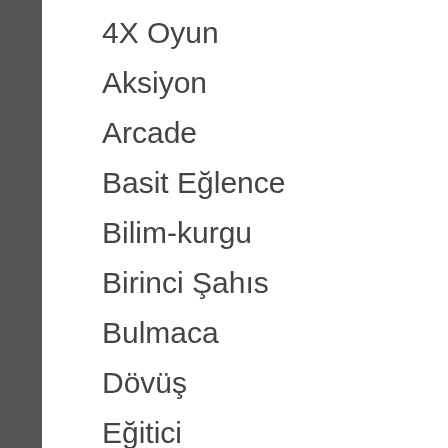4X Oyun
Aksiyon
Arcade
Basit Eğlence
Bilim-kurgu
Birinci Şahıs
Bulmaca
Dövüş
Eğitici
FPS (Birinci Şahıs Nişancı)
Hayatta Kalma
Hayatta Kalma Korku
Klasik